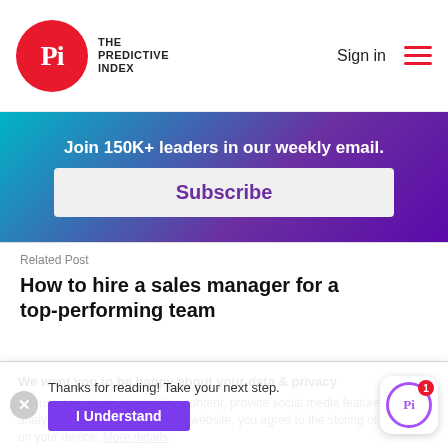[Figure (logo): The Predictive Index logo with red circular PI emblem and text 'THE PREDICTIVE INDEX']
Sign in
[Figure (other): Hamburger menu icon with three red horizontal lines]
Join 150K+ leaders in our weekly email.
Subscribe
Related Post
How to hire a sales manager for a top-performing team
We want you to be happy about your data & privacy
We use cookies to personalize content, provide social media features and to analyze our traffic. By using this website, you agree to the storing of cookies on your device. More details.
Thanks for reading! Take your next step.
I Understand